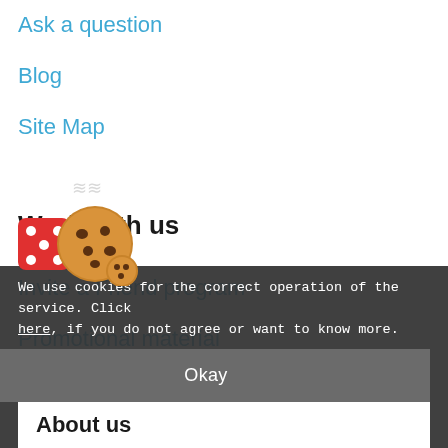Ask a question
Blog
Site Map
Work with us
Invite a Friend program
Promotional material
Advertise on Megabonus
[Figure (illustration): Cookie emoji with dice and cookies with steam]
We use cookies for the correct operation of the service. Click here, if you do not agree or want to know more.
Okay
About us